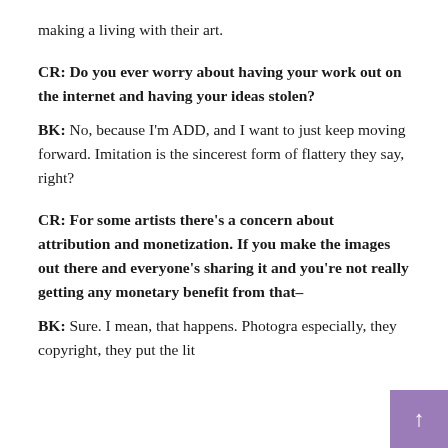making a living with their art.
CR: Do you ever worry about having your work out on the internet and having your ideas stolen?
BK: No, because I'm ADD, and I want to just keep moving forward. Imitation is the sincerest form of flattery they say, right?
CR: For some artists there’s a concern about attribution and monetization. If you make the images out there and everyone’s sharing it and you’re not really getting any monetary benefit from that–
BK: Sure. I mean, that happens. Photogra especially, they copyright, they put the lit